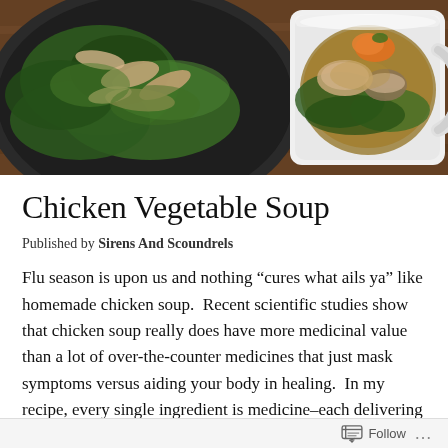[Figure (photo): Overhead view of two bowls/dishes of chicken vegetable soup on a wooden surface. Left: dark plate with greens and shredded chicken. Right: white ceramic mug/bowl with broth, chicken pieces, mushrooms, carrot, and leafy greens.]
Chicken Vegetable Soup
Published by Sirens And Scoundrels
Flu season is upon us and nothing “cures what ails ya” like homemade chicken soup.  Recent scientific studies show that chicken soup really does have more medicinal value than a lot of over-the-counter medicines that just mask symptoms versus aiding your body in healing.  In my recipe, every single ingredient is medicine–each delivering anti-viral, anti-inflammatory, anti-oxidant, immune-boosting magic.